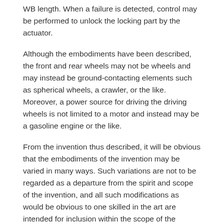WB length. When a failure is detected, control may be performed to unlock the locking part by the actuator.
Although the embodiments have been described, the front and rear wheels may not be wheels and may instead be ground-contacting elements such as spherical wheels, a crawler, or the like. Moreover, a power source for driving the driving wheels is not limited to a motor and instead may be a gasoline engine or the like.
From the invention thus described, it will be obvious that the embodiments of the invention may be varied in many ways. Such variations are not to be regarded as a departure from the spirit and scope of the invention, and all such modifications as would be obvious to one skilled in the art are intended for inclusion within the scope of the following claims.
Patent Citations (22)
| Publication number | Priority date | Publication date | Ass |
| --- | --- | --- | --- |